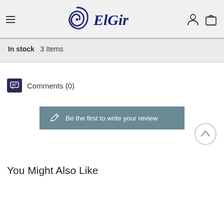[Figure (logo): ElGir brand logo with spiral swirl icon and stylized cursive text 'ElGir' in dark navy blue]
In stock   3 Items
Comments (0)
Be the first to write your review
You Might Also Like